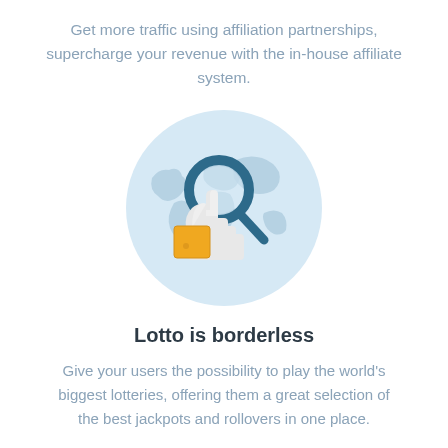Get more traffic using affiliation partnerships, supercharge your revenue with the in-house affiliate system.
[Figure (illustration): A circular light blue badge containing a world map with a magnifying glass over Europe and a hand giving a thumbs-up with an orange/yellow ticket or card.]
Lotto is borderless
Give your users the possibility to play the world's biggest lotteries, offering them a great selection of the best jackpots and rollovers in one place.
[Figure (illustration): Partial circular light blue badge (cropped at bottom) containing a stylized globe with clouds.]